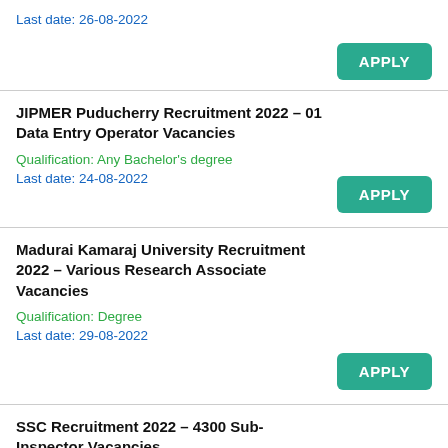Last date: 26-08-2022
JIPMER Puducherry Recruitment 2022 – 01 Data Entry Operator Vacancies
Qualification: Any Bachelor's degree
Last date: 24-08-2022
Madurai Kamaraj University Recruitment 2022 – Various Research Associate Vacancies
Qualification: Degree
Last date: 29-08-2022
SSC Recruitment 2022 – 4300 Sub-Inspector Vacancies
Qualification: Any Degree